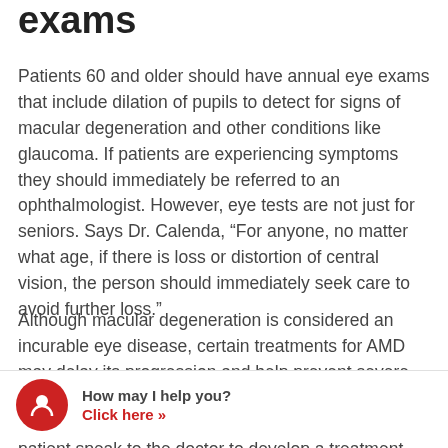exams
Patients 60 and older should have annual eye exams that include dilation of pupils to detect for signs of macular degeneration and other conditions like glaucoma. If patients are experiencing symptoms they should immediately be referred to an ophthalmologist. However, eye tests are not just for seniors. Says Dr. Calenda, “For anyone, no matter what age, if there is loss or distortion of central vision, the person should immediately seek care to avoid further loss.”
Although macular degeneration is considered an incurable eye disease, certain treatments for AMD may delay its progression and help prevent severe vision loss. “Treatments may vary so it’s important that the patient speak to the doctor to develop a treatment plan that encompasses this condition,” says Dr. Calenda. One option
[Figure (other): Chatbot widget with red circular icon showing a person silhouette, text 'How may I help you?' in bold and 'Click here »' in red.]